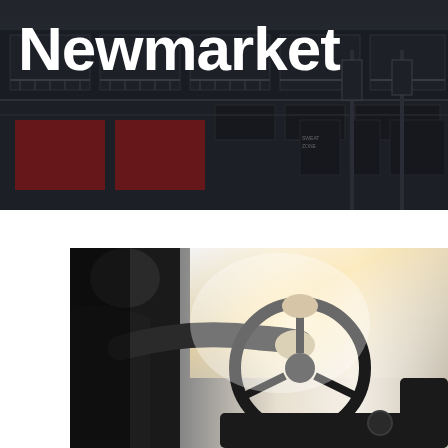[Figure (photo): Urban street scene with a dark building facade featuring balconies, red panels, and signage including 'SWEAT ZONE'. Dark moody architectural photograph.]
Newmarket
[Figure (photo): A person in a dark suit driving a car, gripping the steering wheel, with bright sunlight coming through the windshield. Interior shot showing steering wheel and dashboard.]